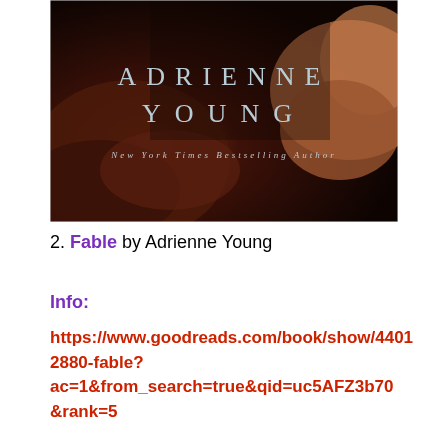[Figure (photo): Book cover of 'Fable' by Adrienne Young showing a close-up of a woman's face with auburn hair against a dark background, with the author name 'ADRIENNE YOUNG' in large spaced serif letters and 'New York Times Bestselling Author' below it.]
2. Fable by Adrienne Young
Info:
https://www.goodreads.com/book/show/44012880-fable?ac=1&from_search=true&qid=uc5AFZ3b70&rank=5